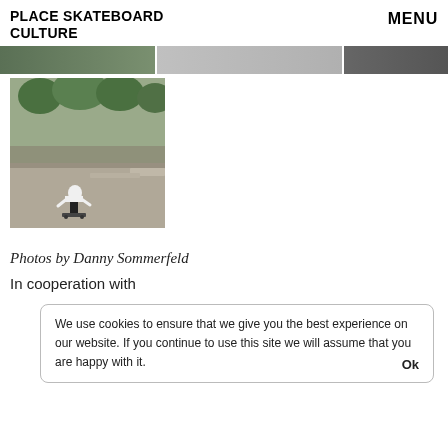PLACE SKATEBOARD CULTURE   MENU
[Figure (photo): Horizontal banner strip with three photo segments showing skate event scenes]
[Figure (photo): Skateboarder performing a trick at an outdoor skate event with crowd and trees in background]
Photos by Danny Sommerfeld
In cooperation with
We use cookies to ensure that we give you the best experience on our website. If you continue to use this site we will assume that you are happy with it.  Ok